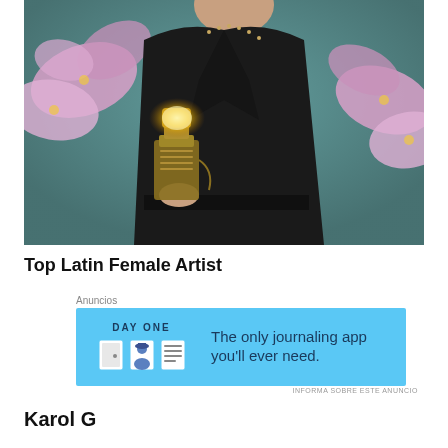[Figure (photo): Photo of a person in a black leather jacket with metal studs, holding a glowing award trophy. Pink orchid flowers frame the left and right sides against a teal background.]
Top Latin Female Artist
[Figure (screenshot): Advertisement banner for DAY ONE journaling app. Light blue background with DAY ONE logo text, three app icons showing a door, person, and notebook, and tagline 'The only journaling app you'll ever need.']
Karol G